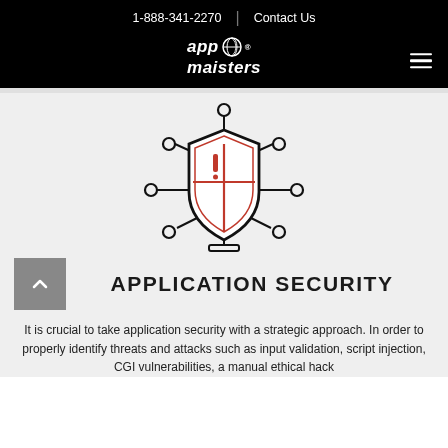1-888-341-2270 | Contact Us
[Figure (logo): App Maisters logo with globe icon and hamburger menu]
[Figure (illustration): Security shield icon with network connection nodes and red cross/exclamation mark inside shield]
APPLICATION SECURITY
It is crucial to take application security with a strategic approach. In order to properly identify threats and attacks such as input validation, script injection, CGI vulnerabilities, a manual ethical hack